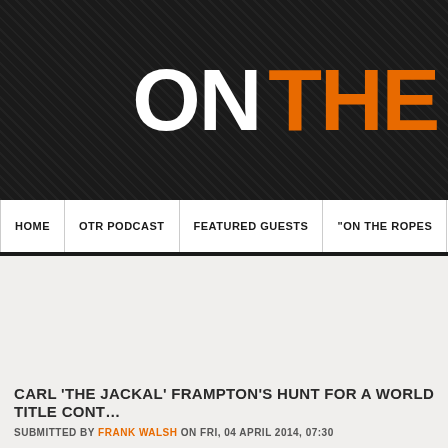[Figure (logo): ON THE ROPES website logo banner with dark textured background. 'ON' in white bold text and 'THE' in orange bold text, large display font.]
HOME | OTR PODCAST | FEATURED GUESTS | "ON THE ROPES
CARL 'THE JACKAL' FRAMPTON'S HUNT FOR A WORLD TITLE CONT…
SUBMITTED BY FRANK WALSH ON FRI, 04 APRIL 2014, 07:30